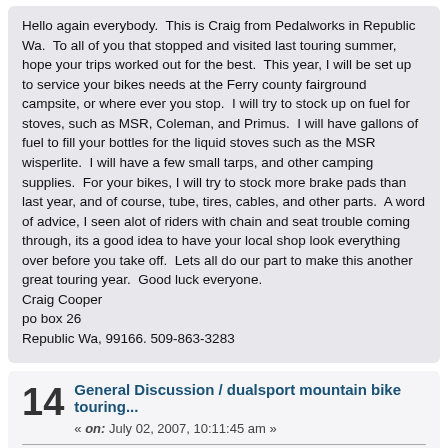Hello again everybody.  This is Craig from Pedalworks in Republic Wa.  To all of you that stopped and visited last touring summer, hope your trips worked out for the best.  This year, I will be set up to service your bikes needs at the Ferry county fairground campsite, or where ever you stop.  I will try to stock up on fuel for stoves, such as MSR, Coleman, and Primus.  I will have gallons of fuel to fill your bottles for the liquid stoves such as the MSR wisperlite.  I will have a few small tarps, and other camping supplies.  For your bikes, I will try to stock more brake pads than last year, and of course, tube, tires, cables, and other parts.  A word of advice, I seen alot of riders with chain and seat trouble coming through, its a good idea to have your local shop look everything over before you take off.  Lets all do our part to make this another great touring year.  Good luck everyone.
Craig Cooper
po box 26
Republic Wa, 99166. 509-863-3283
14
General Discussion / dualsport mountain bike touring...
« on: July 02, 2007, 10:11:45 am »
Hey there.  Where I live in Wa state.  We have many routes that havent been traveled by car in 50 years.  Very wooded, up and